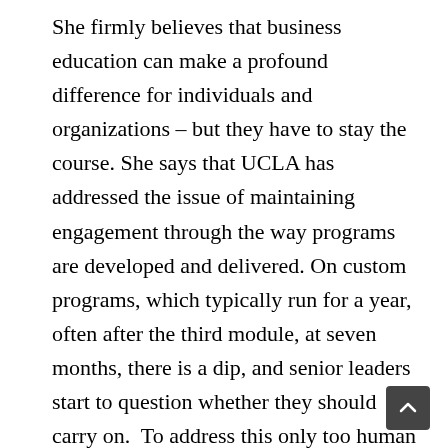She firmly believes that business education can make a profound difference for individuals and organizations – but they have to stay the course. She says that UCLA has addressed the issue of maintaining engagement through the way programs are developed and delivered. On custom programs, which typically run for a year, often after the third module, at seven months, there is a dip, and senior leaders start to question whether they should carry on.  To address this only too human reaction, the program allows structured opportunities for reflection, feedback, and discussion in an effort to press the refresh button.